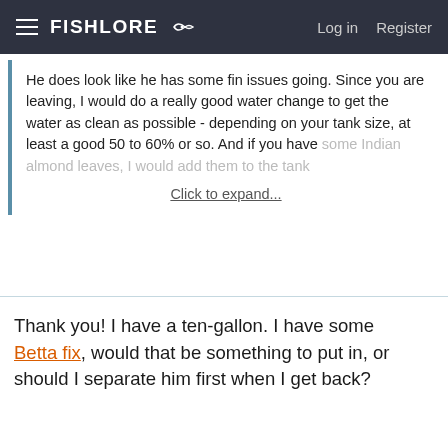FishLore | Log in | Register
He does look like he has some fin issues going. Since you are leaving, I would do a really good water change to get the water as clean as possible - depending on your tank size, at least a good 50 to 60% or so. And if you have some Indian almond [leaves, I would add them to the tank]
Click to expand...
Thank you! I have a ten-gallon. I have some Betta fix, would that be something to put in, or should I separate him first when I get back?
Rose of Sharon